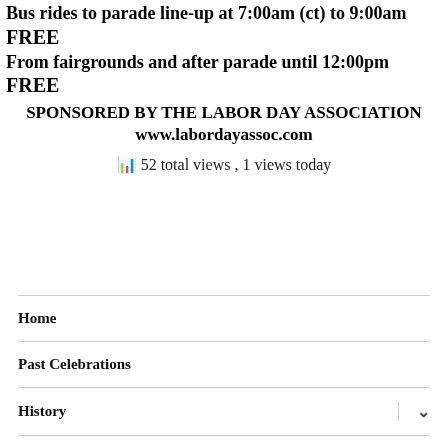Bus rides to parade line-up at 7:00am (ct) to 9:00am
FREE
From fairgrounds and after parade until 12:00pm
FREE
SPONSORED BY THE LABOR DAY ASSOCIATION
www.labordayassoc.com
52 total views , 1 views today
Home
Past Celebrations
History
Association